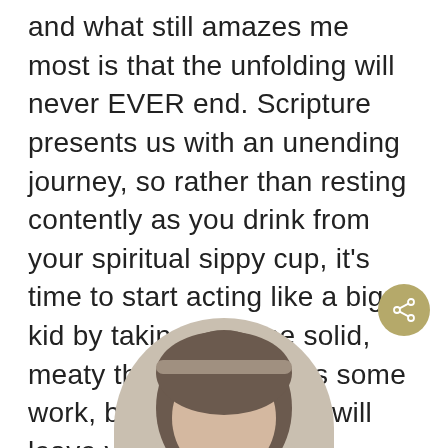and what still amazes me most is that the unfolding will never EVER end. Scripture presents us with an unending journey, so rather than resting contently as you drink from your spiritual sippy cup, it's time to start acting like a big kid by taking in some solid, meaty theology. It takes some work, but only the meat will leave you feeling truly satisfied.
[Figure (photo): Circular profile photo of a person with brown hair, partially cropped at the bottom of the page. A gold/olive colored share button icon appears in the lower right area.]